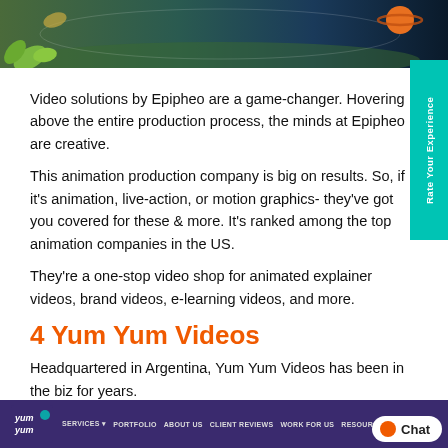[Figure (screenshot): Top banner image showing a space/nature themed illustration with a planet (Saturn-like) on the right and leaves/plants on the lower left, dark blue-green background]
Video solutions by Epipheo are a game-changer. Hovering above the entire production process, the minds at Epipheo are creative.
This animation production company is big on results. So, if it's animation, live-action, or motion graphics- they've got you covered for these & more. It's ranked among the top animation companies in the US.
They're a one-stop video shop for animated explainer videos, brand videos, e-learning videos, and more.
4 Yum Yum Videos
Headquartered in Argentina, Yum Yum Videos has been in the biz for years.
[Figure (screenshot): Bottom navigation bar of Yum Yum Videos website with purple background, logo on left, nav links (SERVICES, PORTFOLIO, ABOUT US, CLIENT REVIEWS, WORK FOR US, RESOURCES, BLOG), and a Chat button on the right]